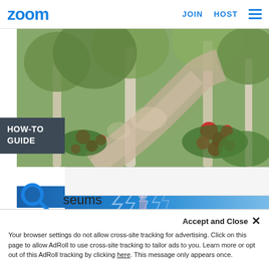zoom   JOIN   HOST
[Figure (illustration): Impressionist garden painting with red flowers, trees and a path]
HOW-TO GUIDE
[Figure (illustration): Search magnifying glass icon]
seums
[Figure (photo): Blue abstract image with lightning and figure silhouettes at the bottom of the page]
Accept and Close ✕
Your browser settings do not allow cross-site tracking for advertising. Click on this page to allow AdRoll to use cross-site tracking to tailor ads to you. Learn more or opt out of this AdRoll tracking by clicking here. This message only appears once.